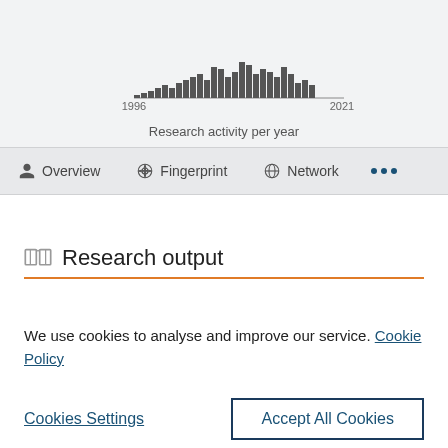[Figure (histogram): Research activity per year]
Research activity per year
Overview
Fingerprint
Network
Research output
We use cookies to analyse and improve our service. Cookie Policy
Cookies Settings
Accept All Cookies